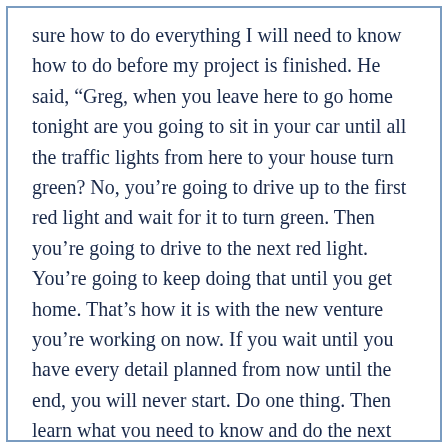sure how to do everything I will need to know how to do before my project is finished. He said, “Greg, when you leave here to go home tonight are you going to sit in your car until all the traffic lights from here to your house turn green? No, you’re going to drive up to the first red light and wait for it to turn green. Then you’re going to drive to the next red light. You’re going to keep doing that until you get home. That’s how it is with the new venture you’re working on now. If you wait until you have every detail planned from now until the end, you will never start. Do one thing. Then learn what you need to know and do the next thing. Before you know it, you will finish strong.”
When we want to do something big, bold, different,